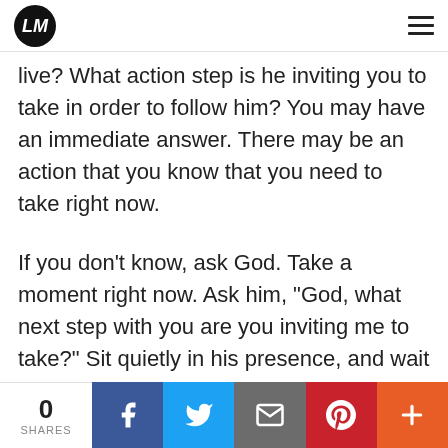LM logo and navigation menu
live? What action step is he inviting you to take in order to follow him? You may have an immediate answer. There may be an action that you know that you need to take right now.
If you don't know, ask God. Take a moment right now. Ask him, "God, what next step with you are you inviting me to take?" Sit quietly in his presence, and wait on him to respond to you.
0 SHARES | Share on Facebook | Share on Twitter | Share via Email | Share on Pinterest | More